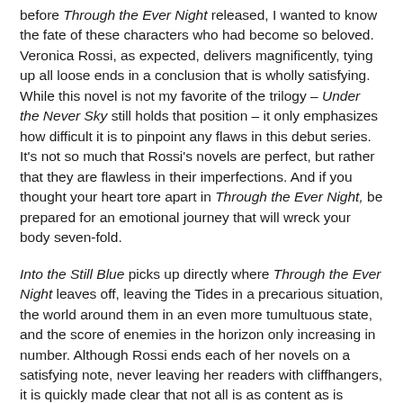before Through the Ever Night released, I wanted to know the fate of these characters who had become so beloved. Veronica Rossi, as expected, delivers magnificently, tying up all loose ends in a conclusion that is wholly satisfying. While this novel is not my favorite of the trilogy – Under the Never Sky still holds that position – it only emphasizes how difficult it is to pinpoint any flaws in this debut series. It's not so much that Rossi's novels are perfect, but rather that they are flawless in their imperfections. And if you thought your heart tore apart in Through the Ever Night, be prepared for an emotional journey that will wreck your body seven-fold.
Into the Still Blue picks up directly where Through the Ever Night leaves off, leaving the Tides in a precarious situation, the world around them in an even more tumultuous state, and the score of enemies in the horizon only increasing in number. Although Rossi ends each of her novels on a satisfying note, never leaving her readers with cliffhangers, it is quickly made clear that not all is as content as is suggested by the last few lines of Through the Ever Night. Not only are tempers rising – Roar's grief, Perry's underlying distrust of Aria, Aria's guilt, the expectations of the Tides –